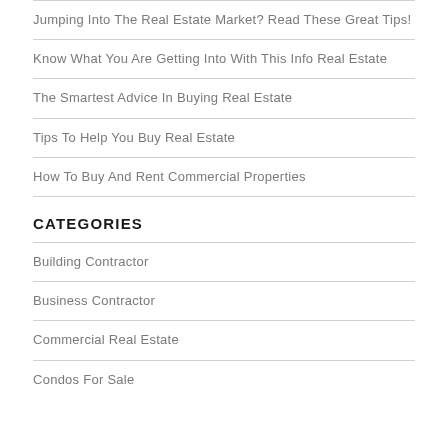Jumping Into The Real Estate Market? Read These Great Tips!
Know What You Are Getting Into With This Info Real Estate
The Smartest Advice In Buying Real Estate
Tips To Help You Buy Real Estate
How To Buy And Rent Commercial Properties
CATEGORIES
Building Contractor
Business Contractor
Commercial Real Estate
Condos For Sale